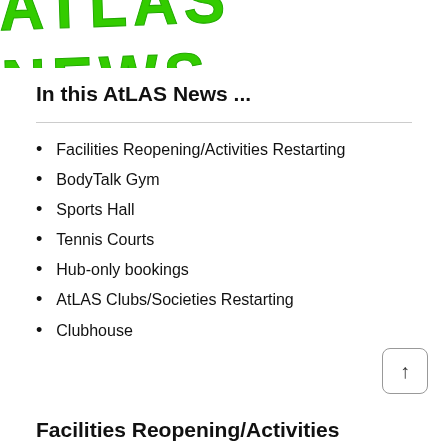[Figure (logo): ATLAS NEWS text logo in green brush-style font]
In this AtLAS News ...
Facilities Reopening/Activities Restarting
BodyTalk Gym
Sports Hall
Tennis Courts
Hub-only bookings
AtLAS Clubs/Societies Restarting
Clubhouse
Facilities Reopening/Activities